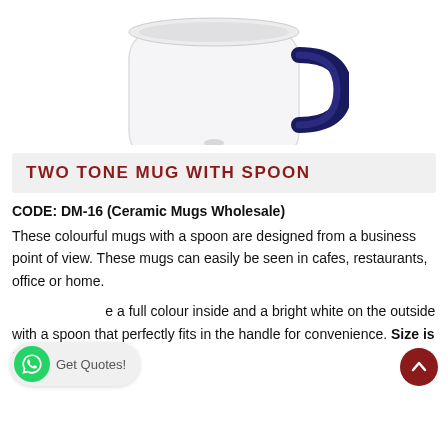[Figure (photo): Partial top view of a two-tone ceramic mug with a dark navy blue handle, white body, visible from approximately mid-mug upward against a white background.]
TWO TONE MUG WITH SPOON
CODE: DM-16 (Ceramic Mugs Wholesale)
These colourful mugs with a spoon are designed from a business point of view. These mugs can easily be seen in cafes, restaurants, office or home.
e a full colour inside and a bright white on the outside with a spoon that perfectly fits in the handle for convenience. Size is 102 mm